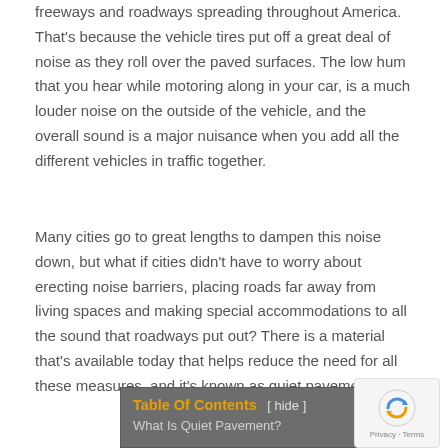freeways and roadways spreading throughout America. That's because the vehicle tires put off a great deal of noise as they roll over the paved surfaces. The low hum that you hear while motoring along in your car, is a much louder noise on the outside of the vehicle, and the overall sound is a major nuisance when you add all the different vehicles in traffic together.
Many cities go to great lengths to dampen this noise down, but what if cities didn't have to worry about erecting noise barriers, placing roads far away from living spaces and making special accommodations to all the sound that roadways put out? There is a material that's available today that helps reduce the need for all these measures, and it's known as quiet pavement.
| Table Of Contents | [hide] |
| --- | --- |